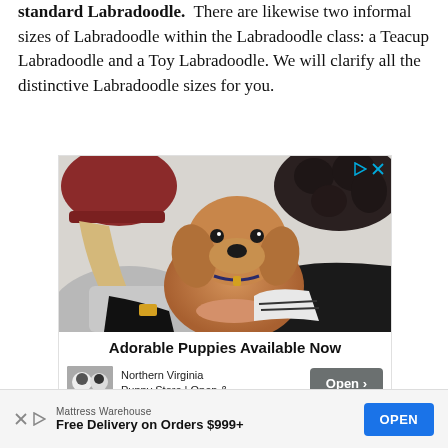standard Labradoodle. There are likewise two informal sizes of Labradoodle within the Labradoodle class: a Teacup Labradoodle and a Toy Labradoodle. We will clarify all the distinctive Labradoodle sizes for you.
[Figure (photo): Advertisement photo showing two people leaning over a golden Labradoodle puppy. One person wears a red beanie hat. Below the photo is text 'Adorable Puppies Available Now' with a Northern Virginia Puppy Store logo and an Open button.]
[Figure (photo): Bottom banner advertisement for Mattress Warehouse: 'Free Delivery on Orders $999+' with an OPEN button.]